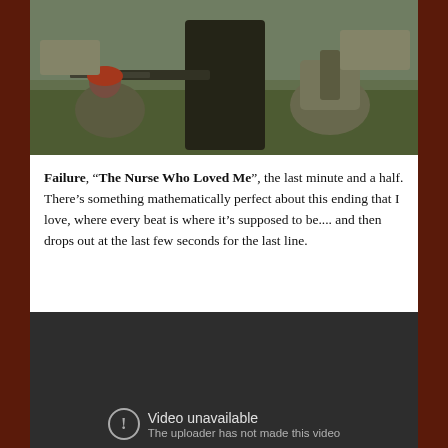[Figure (illustration): Painted illustration showing figures in a battlefield or action scene; a central figure holds a large weapon/gun, with other figures crouching or moving around them on a landscape background.]
Failure, “The Nurse Who Loved Me”, the last minute and a half. There’s something mathematically perfect about this ending that I love, where every beat is where it’s supposed to be.... and then drops out at the last few seconds for the last line.
[Figure (screenshot): Video embed showing 'Video unavailable' message with the text 'The uploader has not made this video' on a dark background with a circular exclamation icon.]